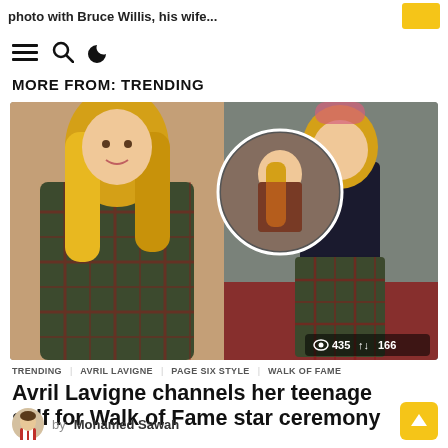photo with Bruce Willis, his wife...
MORE FROM: TRENDING
[Figure (photo): Two photos of Avril Lavigne at her Hollywood Walk of Fame ceremony, wearing a plaid/tartan outfit. Left photo shows her upper body in a plaid blazer with accessories, smiling. Right photo shows her full body in plaid trousers and dark top on a red carpet. A circular inset shows another angle. Stats overlay shows 435 views and 166 shares.]
TRENDING  AVRIL LAVIGNE  PAGE SIX STYLE  WALK OF FAME
Avril Lavigne channels her teenage self for Walk of Fame star ceremony
by Mohamed Sawah